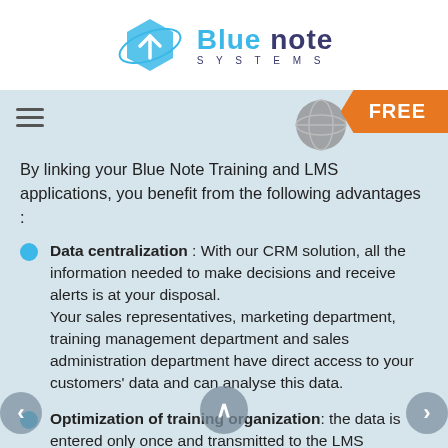[Figure (logo): Blue Note Systems logo with blue hexagon icon and company name]
[Figure (infographic): Orange FREE badge arrow shape in top right corner, globe icon, hamburger menu icon]
By linking your Blue Note Training and LMS applications, you benefit from the following advantages :
Data centralization : With our CRM solution, all the information needed to make decisions and receive alerts is at your disposal. Your sales representatives, marketing department, training management department and sales administration department have direct access to your customers' data and can analyse this data.
Optimization of training organization: the data is entered only once and transmitted to the LMS application. This connector allows you to enhance the quality of handling of training data.